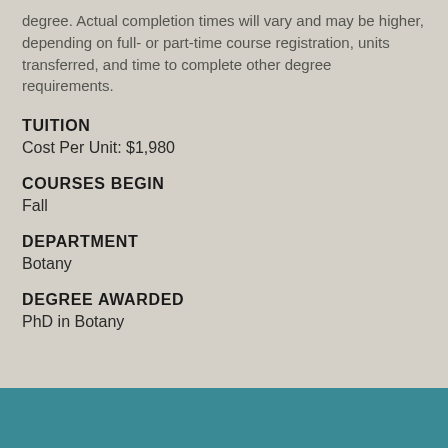degree. Actual completion times will vary and may be higher, depending on full- or part-time course registration, units transferred, and time to complete other degree requirements.
TUITION
Cost Per Unit: $1,980
COURSES BEGIN
Fall
DEPARTMENT
Botany
DEGREE AWARDED
PhD in Botany